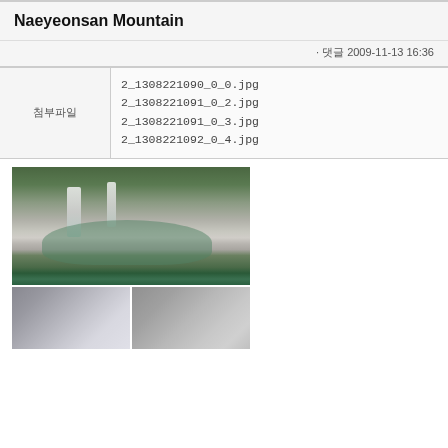Naeyeonsan Mountain
· 댓글 2009-11-13 16:36
| 첨부파일 | files |
| --- | --- |
| 첨부파일 | 2_1308221090_0_0.jpg
2_1308221091_0_2.jpg
2_1308221091_0_3.jpg
2_1308221092_0_4.jpg |
[Figure (photo): Composite photo of Naeyeonsan Mountain showing a waterfall cascading into a green pool with people swimming, surrounded by rocky cliffs and lush green forest, plus two smaller photos below showing rocky cliff faces and a waterfall.]